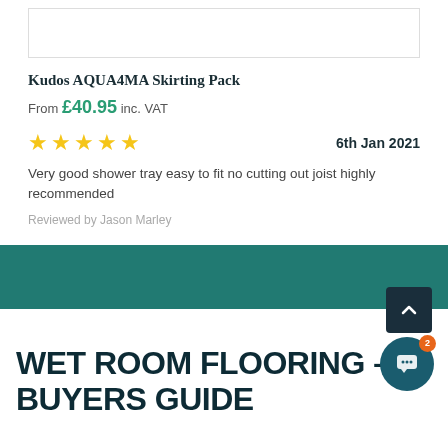[Figure (other): Product image placeholder box (white box with border)]
Kudos AQUA4MA Skirting Pack
From £40.95 inc. VAT
★★★★★  6th Jan 2021
Very good shower tray easy to fit no cutting out joist highly recommended
Reviewed by Jason Marley
[Figure (other): Teal/dark green band section divider]
WET ROOM FLOORING – BUYERS GUIDE